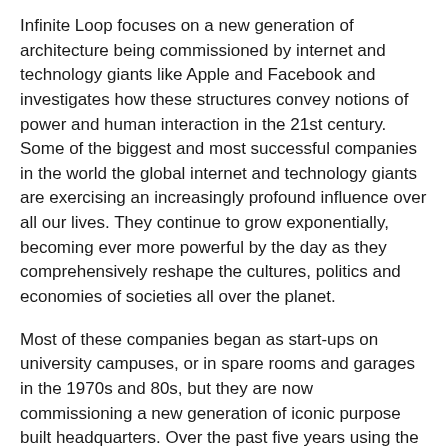Infinite Loop focuses on a new generation of architecture being commissioned by internet and technology giants like Apple and Facebook and investigates how these structures convey notions of power and human interaction in the 21st century. Some of the biggest and most successful companies in the world the global internet and technology giants are exercising an increasingly profound influence over all our lives. They continue to grow exponentially, becoming ever more powerful by the day as they comprehensively reshape the cultures, politics and economies of societies all over the planet.
Most of these companies began as start-ups on university campuses, or in spare rooms and garages in the 1970s and 80s, but they are now commissioning a new generation of iconic purpose built headquarters. Over the past five years using the internet, we've researched and made models of many of these buildings as they are being built; Infinite Loop takes it's name from the address of the massive, futuristic new Apple HQ, a circular building a mile in circumference, designed by Foster and Partners at Cupertino in